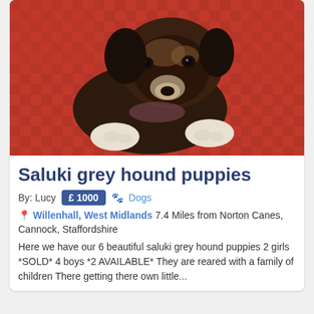[Figure (photo): A young dark brown/brindle saluki greyhound puppy with white paws lying on a red and white checkered blanket/fabric]
Saluki grey hound puppies
By: Lucy  £ 1000  🐾 Dogs
📍 Willenhall, West Midlands 7.4 Miles from Norton Canes, Cannock, Staffordshire
Here we have our 6 beautiful saluki grey hound puppies 2 girls *SOLD* 4 boys *2 AVAILABLE* They are reared with a family of children There getting there own little...